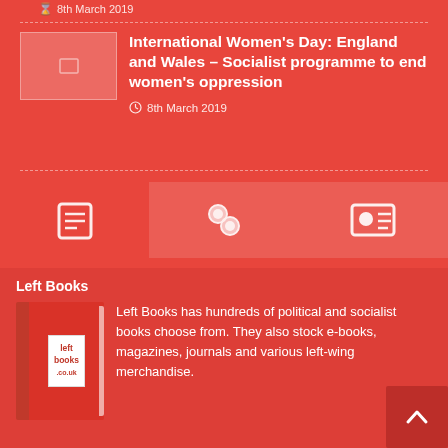8th March 2019
International Women's Day: England and Wales – Socialist programme to end women's oppression
8th March 2019
[Figure (other): Three icon buttons: articles/list icon, links/chain icon, contact card icon]
Left Books
[Figure (illustration): Left Books logo — a red book with a white label reading left books .co.uk]
Left Books has hundreds of political and socialist books choose from. They also stock e-books, magazines, journals and various left-wing merchandise.